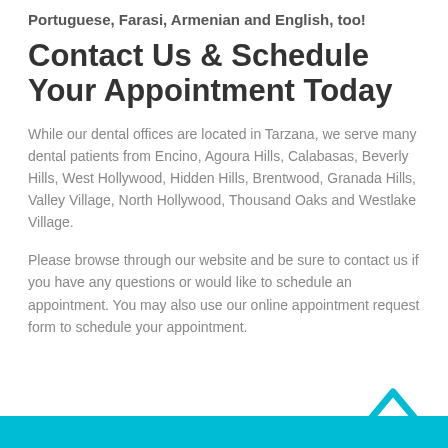Portuguese, Farasi, Armenian and English, too!
Contact Us & Schedule Your Appointment Today
While our dental offices are located in Tarzana, we serve many dental patients from Encino, Agoura Hills, Calabasas, Beverly Hills, West Hollywood, Hidden Hills, Brentwood, Granada Hills, Valley Village, North Hollywood, Thousand Oaks and Westlake Village.
Please browse through our website and be sure to contact us if you have any questions or would like to schedule an appointment. You may also use our online appointment request form to schedule your appointment.